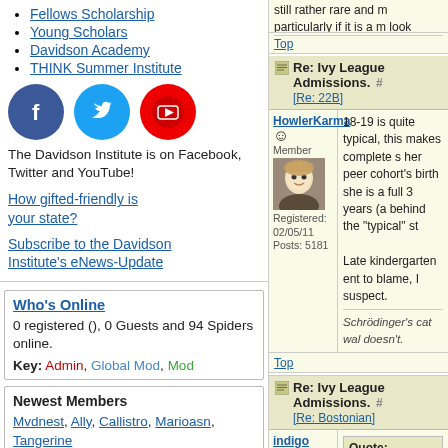Fellows Scholarship
Young Scholars
Davidson Academy
THINK Summer Institute
[Figure (logo): Facebook, Twitter, and YouTube social media icons (circular)]
The Davidson Institute is on Facebook, Twitter and YouTube!
How gifted-friendly is your state?
Subscribe to the Davidson Institute's eNews-Update
Who's Online
0 registered (), 0 Guests and 94 Spiders online.
Key: Admin, Global Mod, Mod
Newest Members
Mvdnest, Ally, Callistro, Marioasn, Tangerine
11196 Registered Users
Re: Ivy League Admissions. [Re: 22B]
HowlerKarma — 18-19 is quite typical, this makes complete sense her peer cohort's birth she is a full 3 years (a behind the "typical" s
Registered: 02/05/11 Posts: 5181
Late kindergarten ent to blame, I suspect.
Schrödinger's cat wal doesn't.
Top
Re: Ivy League Admissions. [Re: Bostonian]
indigo — Member
Quote: Parents who worry a young student to c